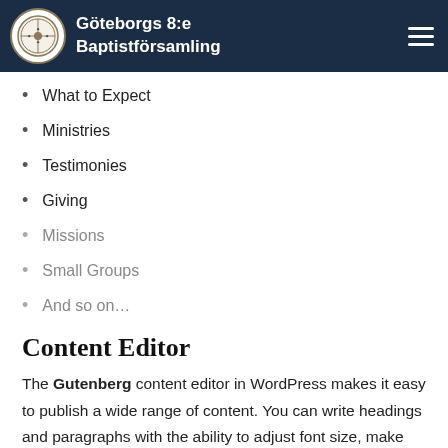Göteborgs 8:e Baptistförsamling
What to Expect
Ministries
Testimonies
Giving
Missions
Small Groups
And so on…
Content Editor
The Gutenberg content editor in WordPress makes it easy to publish a wide range of content. You can write headings and paragraphs with the ability to adjust font size, make text italic or bold, add links and so on. Other content blocks include images, videos, quotes, tables and more. Here's a look.